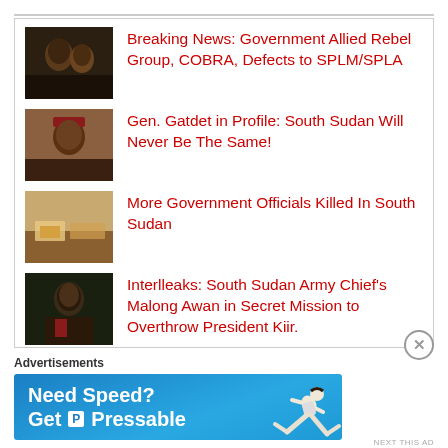Breaking News: Government Allied Rebel Group, COBRA, Defects to SPLM/SPLA
Gen. Gatdet in Profile: South Sudan Will Never Be The Same!
More Government Officials Killed In South Sudan
Interlleaks: South Sudan Army Chief's Malong Awan in Secret Mission to Overthrow President Kiir.
Breaking: El Bashir Adviser, Bona Malwal Madut, Broadcasts Inflammatory Hate Speeches Against Non-Dinka Tribes in
Advertisements
[Figure (photo): Advertisement banner: Need Speed? Get Pressable — blue background with running person graphic]